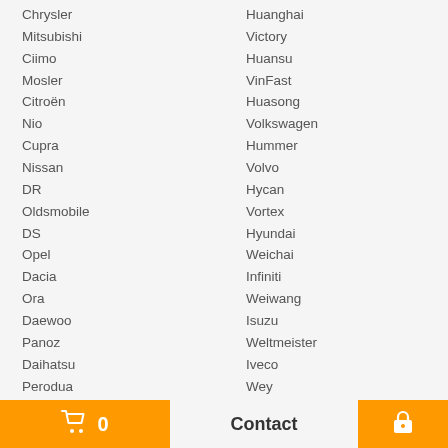Chrysler
Mitsubishi
Ciimo
Mosler
Citroën
Nio
Cupra
Nissan
DR
Oldsmobile
DS
Opel
Dacia
Ora
Daewoo
Panoz
Daihatsu
Perodua
Datsun
Peugeot
Denza
Plymouth
Dodge
Polaris
Dongfeng
Huanghai
Victory
Huansu
VinFast
Huasong
Volkswagen
Hummer
Volvo
Hycan
Vortex
Hyundai
Weichai
Infiniti
Weiwang
Isuzu
Weltmeister
Iveco
Wey
JAC
Wuling
JMC
XPeng
Jaguar
Yema
0  Contact